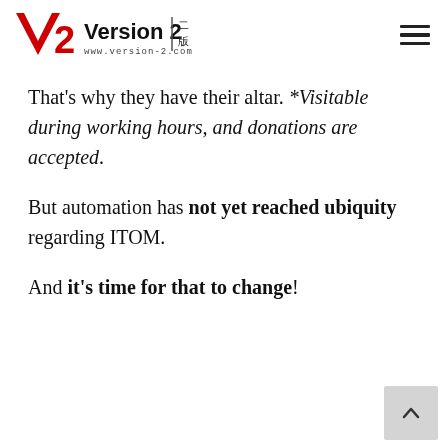[Figure (logo): Version 2 logo with red V2 icon, bold black 'Version 2' text, www.version-2.com URL, and Chinese characters 二版]
That's why they have their altar. *Visitable during working hours, and donations are accepted.
But automation has not yet reached ubiquity regarding ITOM.
And it's time for that to change!